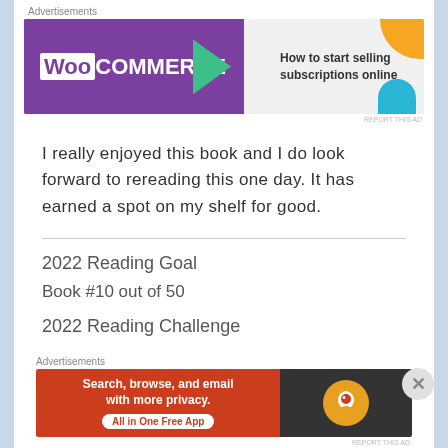Advertisements
[Figure (other): WooCommerce banner ad: purple background on left with WooCommerce logo and green arrow, light grey background on right with text 'How to start selling subscriptions online', orange and blue decorative shapes]
REPORT THIS AD
I really enjoyed this book and I do look forward to rereading this one day. It has earned a spot on my shelf for good.
2022 Reading Goal
Book #10 out of 50
2022 Reading Challenge
Advertisements
[Figure (other): DuckDuckGo banner ad: orange/red left side with text 'Search, browse, and email with more privacy. All in One Free App', dark right side with DuckDuckGo logo]
REPORT THIS AD